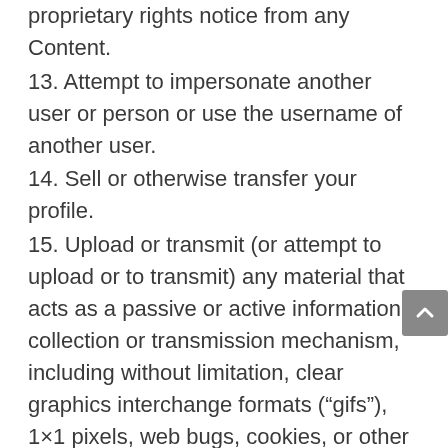proprietary rights notice from any Content.
13. Attempt to impersonate another user or person or use the username of another user.
14. Sell or otherwise transfer your profile.
15. Upload or transmit (or attempt to upload or to transmit) any material that acts as a passive or active information collection or transmission mechanism, including without limitation, clear graphics interchange formats (“gifs”), 1×1 pixels, web bugs, cookies, or other similar devices (sometimes referred to as “spyware” or “passive collection mechanisms” or “pcms”).
16. Interfere with, disrupt, or create an undue burden on the Site or the networks